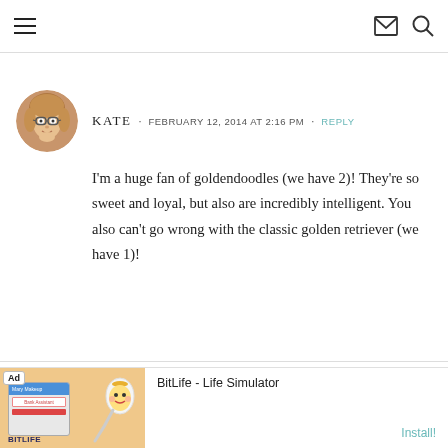Navigation bar with hamburger menu, mail icon, and search icon
KATE · FEBRUARY 12, 2014 AT 2:16 PM · REPLY
I'm a huge fan of goldendoodles (we have 2)! They're so sweet and loyal, but also are incredibly intelligent. You also can't go wrong with the classic golden retriever (we have 1)!
[Figure (other): Ad banner for BitLife - Life Simulator app with Install button]